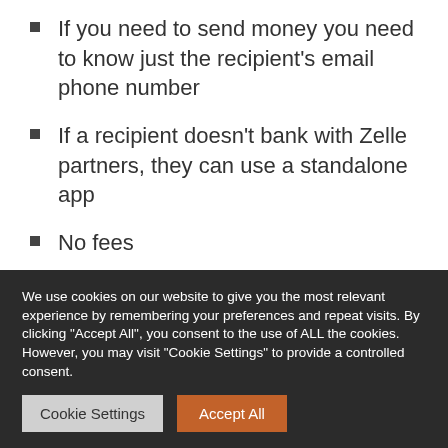If you need to send money you need to know just the recipient's email phone number
If a recipient doesn't bank with Zelle partners, they can use a standalone app
No fees
Cons
There is no way to cancel a transaction if a payee hasn't enrolled with Zelle
We use cookies on our website to give you the most relevant experience by remembering your preferences and repeat visits. By clicking "Accept All", you consent to the use of ALL the cookies. However, you may visit "Cookie Settings" to provide a controlled consent.
Cookie Settings  Accept All